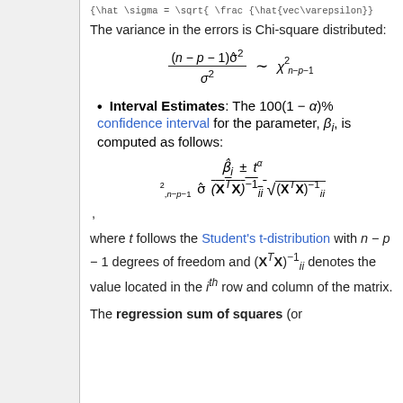{ \hat{\sigma} = \sqrt{ \frac { \hat{vec{\varepsilon}}...
The variance in the errors is Chi-square distributed:
Interval Estimates: The 100(1 − α)% confidence interval for the parameter, β_i, is computed as follows:
,
where t follows the Student's t-distribution with n − p − 1 degrees of freedom and (X^T X)^{-1}_{ii} denotes the value located in the i^th row and column of the matrix.
The regression sum of squares (or